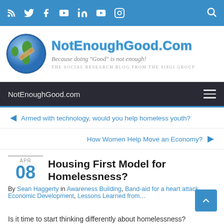Social media icons: RSS, Twitter, Facebook, YouTube, LinkedIn, YouTube, Instagram, Search
[Figure (logo): NotEnoughGood.Com website banner with globe logo, tagline 'Because doing "Good" is not enough!' and subtitle 'The Social Research Blog From The SISGI Group']
NotEnoughGood.com navigation bar with hamburger menu
Armed with technology, would you help homeless youth?
How Women Help Move an Economy?
Housing First Model for Homelessness?
APR 08
By Sean Haggerty in Awareness Building, Band-aid for a heart attack, Economic Development, Lessons Learned from...
Is it time to start thinking differently about homelessness?